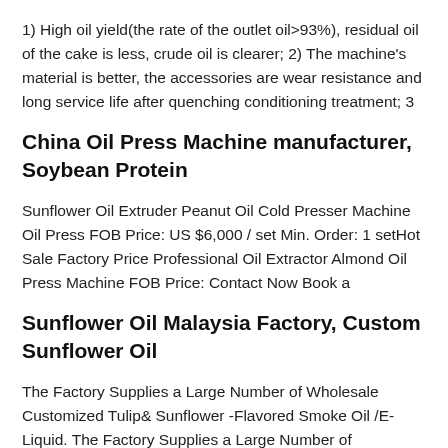1) High oil yield(the rate of the outlet oil>93%), residual oil of the cake is less, crude oil is clearer; 2) The machine's material is better, the accessories are wear resistance and long service life after quenching conditioning treatment; 3
China Oil Press Machine manufacturer, Soybean Protein
Sunflower Oil Extruder Peanut Oil Cold Presser Machine Oil Press FOB Price: US $6,000 / set Min. Order: 1 setHot Sale Factory Price Professional Oil Extractor Almond Oil Press Machine FOB Price: Contact Now Book a
Sunflower Oil Malaysia Factory, Custom Sunflower Oil
The Factory Supplies a Large Number of Wholesale Customized Tulip& Sunflower -Flavored Smoke Oil /E-Liquid. The Factory Supplies a Large Number of Wholesale Customized Tulip& Sunflower -Flavored Smoke Oil/E-Liquid. Unit Price: US $ 1.1-1.3 /